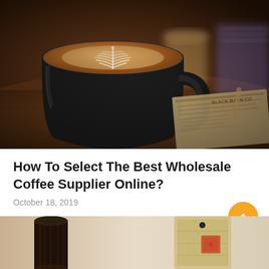[Figure (photo): A black coffee mug with latte art (leaf/rosette pattern) in warm brown tones, sitting on a wooden table with a menu, another coffee cup blurred in background, soft bokeh lighting.]
How To Select The Best Wholesale Coffee Supplier Online?
October 18, 2019
[Figure (photo): Partial view of coffee-related items on a light background, including what appears to be a cylindrical container and a wooden/kraft paper package with a red stamp.]